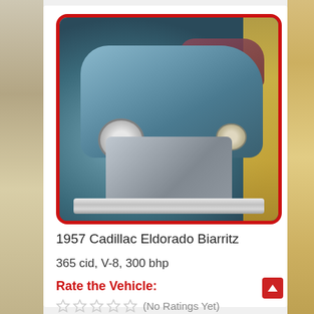[Figure (photo): 1957 Cadillac Eldorado Biarritz front view in blue, displayed in a museum, framed with a red rounded border]
1957 Cadillac Eldorado Biarritz
365 cid, V-8, 300 bhp
Rate the Vehicle:
☆☆☆☆☆ (No Ratings Yet)